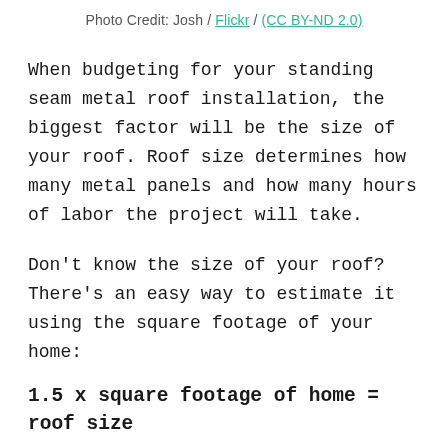Photo Credit: Josh / Flickr / (CC BY-ND 2.0)
When budgeting for your standing seam metal roof installation, the biggest factor will be the size of your roof. Roof size determines how many metal panels and how many hours of labor the project will take.
Don't know the size of your roof? There's an easy way to estimate it using the square footage of your home:
1.5 x square footage of home = roof size
This formula won't give the exact size of your roof, but it will give you a ballpark figure you can use to estimate your budget.
The roofing materials themselves and the labor to